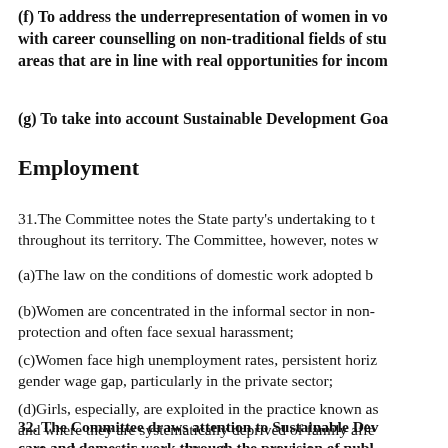(f) To address the underrepresentation of women in vo with career counselling on non-traditional fields of stu areas that are in line with real opportunities for incom
(g) To take into account Sustainable Development Goa
Employment
31.The Committee notes the State party's undertaking to throughout its territory. The Committee, however, notes w
(a)The law on the conditions of domestic work adopted b
(b)Women are concentrated in the informal sector in non- protection and often face sexual harassment;
(c)Women face high unemployment rates, persistent horiz gender wage gap, particularly in the private sector;
(d)Girls, especially, are exploited in the practice known as and where they are systematically deprived of family affe exploited without being paid, and exposed to physical, se
32. The Committee draws attention to Sustainable Dev care and domestic work through the provision of publ